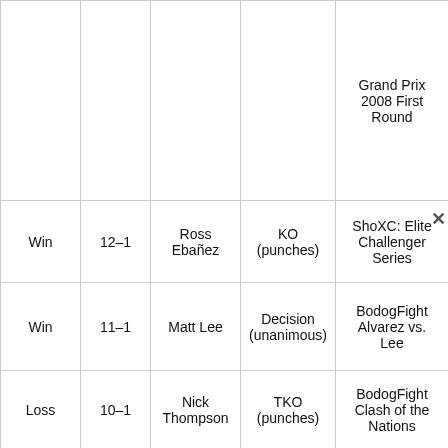| Result | Record | Opponent | Method | Event |
| --- | --- | --- | --- | --- |
|  |  |  |  | Grand Prix 2008 First Round |
| Win | 12–1 | Ross Ebañez | KO (punches) | ShoXC: Elite Challenger Series |
| Win | 11–1 | Matt Lee | Decision (unanimous) | BodogFight Alvarez vs. Lee |
| Loss | 10–1 | Nick Thompson | TKO (punches) | BodogFight Clash of the Nations |